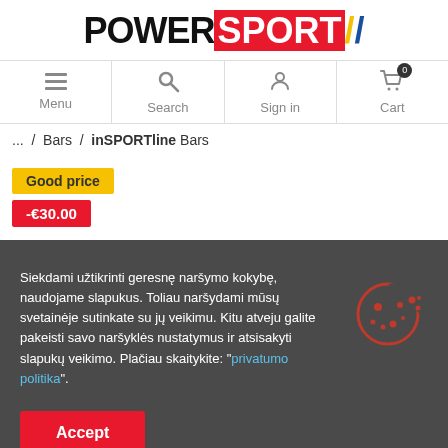[Figure (logo): PowerSport double-slash logo in black, red, yellow and blue]
Menu | Search | Sign in | Cart (0)
... / Bars / inSPORTline Bars
Good price
-€30.00
Siekdami užtikrinti geresnę naršymo kokybę, naudojame slapukus. Toliau naršydami mūsų svetainėje sutinkate su jų veikimu. Kitu atveju galite pakeisti savo naršyklės nustatymus ir atsisakyti slapukų veikimo. Plačiau skaitykite: "privatumo politika".
Accept